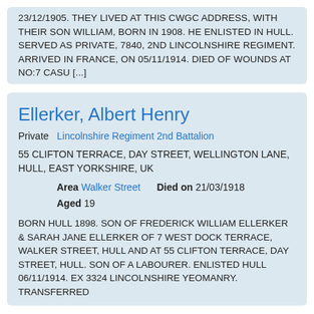23/12/1905. THEY LIVED AT THIS CWGC ADDRESS, WITH THEIR SON WILLIAM, BORN IN 1908. HE ENLISTED IN HULL. SERVED AS PRIVATE, 7840, 2ND LINCOLNSHIRE REGIMENT. ARRIVED IN FRANCE, ON 05/11/1914. DIED OF WOUNDS AT NO:7 CASU [...]
Ellerker, Albert Henry
Private   Lincolnshire Regiment 2nd Battalion
55 CLIFTON TERRACE, DAY STREET, WELLINGTON LANE, HULL, EAST YORKSHIRE, UK
Area Walker Street   Died on 21/03/1918
Aged 19
BORN HULL 1898. SON OF FREDERICK WILLIAM ELLERKER & SARAH JANE ELLERKER OF 7 WEST DOCK TERRACE, WALKER STREET, HULL AND AT 55 CLIFTON TERRACE, DAY STREET, HULL. SON OF A LABOURER. ENLISTED HULL 06/11/1914. EX 3324 LINCOLNSHIRE YEOMANRY. TRANSFERRED